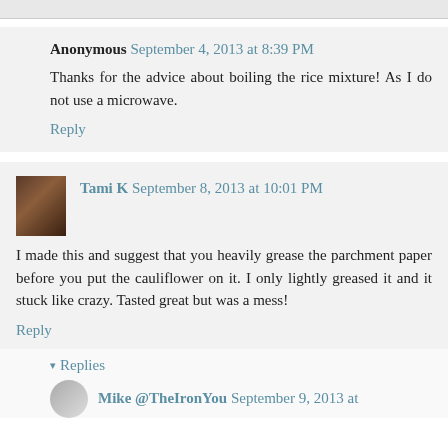Anonymous September 4, 2013 at 8:39 PM
Thanks for the advice about boiling the rice mixture! As I do not use a microwave.
Reply
Tami K September 8, 2013 at 10:01 PM
I made this and suggest that you heavily grease the parchment paper before you put the cauliflower on it. I only lightly greased it and it stuck like crazy. Tasted great but was a mess!
Reply
Replies
Mike @TheIronYou September 9, 2013 at